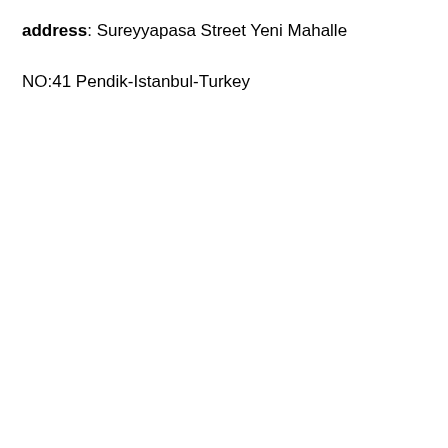address: Sureyyapasa Street Yeni Mahalle NO:41 Pendik-Istanbul-Turkey